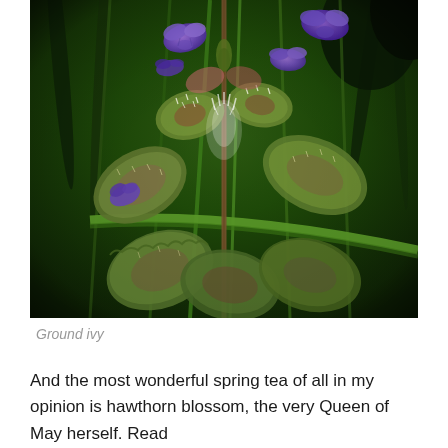[Figure (photo): Close-up photograph of ground ivy plant with purple flowers and hairy green-reddish scalloped leaves growing among green grass stems, shot with a shallow depth of field against a dark green bokeh background.]
Ground ivy
And the most wonderful spring tea of all in my opinion is hawthorn blossom, the very Queen of May herself. Read